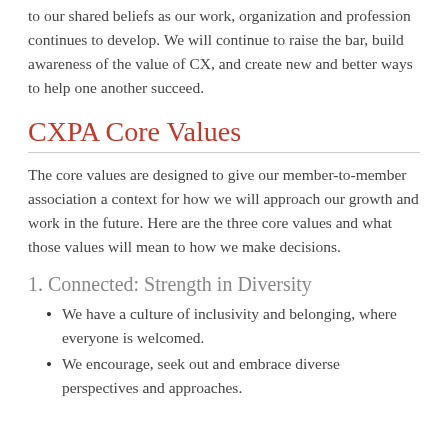to our shared beliefs as our work, organization and profession continues to develop. We will continue to raise the bar, build awareness of the value of CX, and create new and better ways to help one another succeed.
CXPA Core Values
The core values are designed to give our member-to-member association a context for how we will approach our growth and work in the future. Here are the three core values and what those values will mean to how we make decisions.
1. Connected: Strength in Diversity
We have a culture of inclusivity and belonging, where everyone is welcomed.
We encourage, seek out and embrace diverse perspectives and approaches.